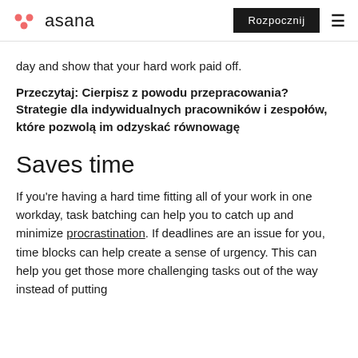asana | Rozpocznij
day and show that your hard work paid off.
Przeczytaj: Cierpisz z powodu przepracowania? Strategie dla indywidualnych pracowników i zespołów, które pozwolą im odzyskać równowagę
Saves time
If you're having a hard time fitting all of your work in one workday, task batching can help you to catch up and minimize procrastination. If deadlines are an issue for you, time blocks can help create a sense of urgency. This can help you get those more challenging tasks out of the way instead of putting